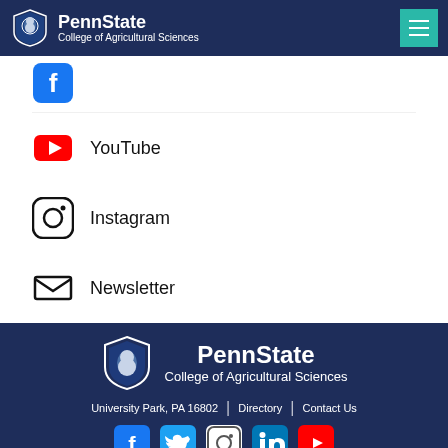PennState College of Agricultural Sciences
YouTube
Instagram
Newsletter
PennState College of Agricultural Sciences — University Park, PA 16802 | Directory | Contact Us — Privacy and Legal Statements — Accessibility — Penn State Hotlines — © 2022 The Pennsylvania State University